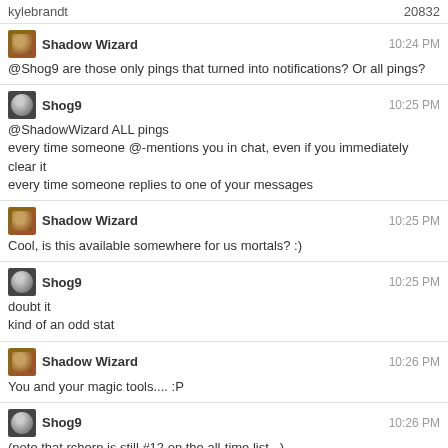kylebrandt   20832
Shadow Wizard  10:24 PM
@Shog9 are those only pings that turned into notifications? Or all pings?
Shog9  10:25 PM
@ShadowWizard ALL pings
every time someone @-mentions you in chat, even if you immediately clear it
every time someone replies to one of your messages
Shadow Wizard  10:25 PM
Cool, is this available somewhere for us mortals? :)
Shog9  10:25 PM
doubt it
kind of an odd stat
Shadow Wizard  10:26 PM
You and your magic tools.... :P
Shog9  10:26 PM
(note that rchern is still #12 on the all-time list...)
Shadow Wizard  10:26 PM
heh, @David is at 25k exactly, he should throw a party.... :D
@Shog9 who's rchern?